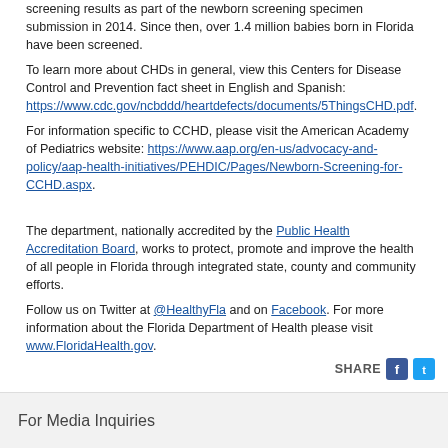screening results as part of the newborn screening specimen submission in 2014. Since then, over 1.4 million babies born in Florida have been screened.
To learn more about CHDs in general, view this Centers for Disease Control and Prevention fact sheet in English and Spanish: https://www.cdc.gov/ncbddd/heartdefects/documents/5ThingsCHD.pdf.
For information specific to CCHD, please visit the American Academy of Pediatrics website: https://www.aap.org/en-us/advocacy-and-policy/aap-health-initiatives/PEHDIC/Pages/Newborn-Screening-for-CCHD.aspx.
The department, nationally accredited by the Public Health Accreditation Board, works to protect, promote and improve the health of all people in Florida through integrated state, county and community efforts.
Follow us on Twitter at @HealthyFla and on Facebook. For more information about the Florida Department of Health please visit www.FloridaHealth.gov.
[Figure (infographic): Share bar with Facebook and Twitter icons]
For Media Inquiries